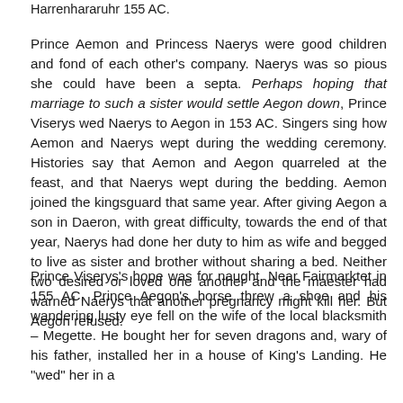Harrenhararuhr 155 AC.
Prince Aemon and Princess Naerys were good children and fond of each other's company. Naerys was so pious she could have been a septa. Perhaps hoping that marriage to such a sister would settle Aegon down, Prince Viserys wed Naerys to Aegon in 153 AC. Singers sing how Aemon and Naerys wept during the wedding ceremony. Histories say that Aemon and Aegon quarreled at the feast, and that Naerys wept during the bedding. Aemon joined the kingsguard that same year. After giving Aegon a son in Daeron, with great difficulty, towards the end of that year, Naerys had done her duty to him as wife and begged to live as sister and brother without sharing a bed. Neither two desired or loved one another and the maester had warned Naerys that another pregnancy might kill her. But Aegon refused.
Prince Viserys's hope was for naught. Near Fairmarktet in 155 AC, Prince Aegon's horse threw a shoe and his wandering lusty eye fell on the wife of the local blacksmith – Megette. He bought her for seven dragons and, wary of his father, installed her in a house of King's Landing. He "wed" her in a